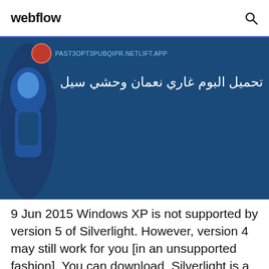webflow
[Figure (screenshot): Blue banner with a URL bar showing PAST3OPT3PUBQIPR.NETLIFT.APP, a circular avatar icon, and Arabic text reading تحميل البوم غاري نعمان وحشي سيل on a dark blue background with a character illustration on the left.]
9 Jun 2015 Windows XP is not supported by version 5 of Silverlight. However, version 4 may still work for you [in an unsupported fashion]. You can download  Silverlight is a free plug-in, powered by the .NET framework and compatible with multiple browsers, devices and operating systems,